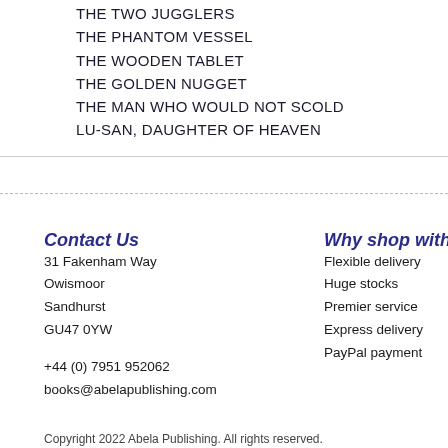THE TWO JUGGLERS
THE PHANTOM VESSEL
THE WOODEN TABLET
THE GOLDEN NUGGET
THE MAN WHO WOULD NOT SCOLD
LU-SAN, DAUGHTER OF HEAVEN
Contact Us
31 Fakenham Way
Owismoor
Sandhurst
GU47 0YW
+44 (0) 7951 952062
books@abelapublishing.com
Why shop with us
Flexible delivery
Huge stocks
Premier service
Express delivery
PayPal payment
Po
Boo
Boo
Boo
eBo
Copyright 2022 Abela Publishing. All rights reserved.
Site designed by Supplyant